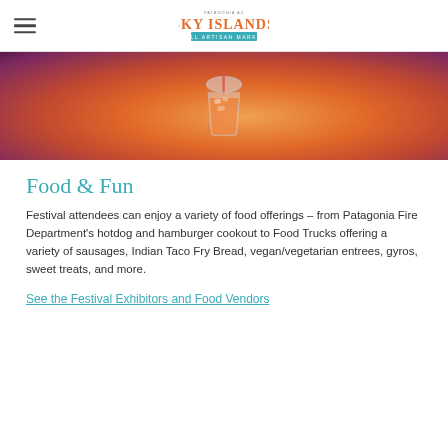Sky Islands Fall Artisan Market
[Figure (photo): Close-up photo of a person holding a clear plastic dome-lid cup with an orange/red iced drink with a straw, person wearing purple/burgundy clothing in background]
Food & Fun
Festival attendees can enjoy a variety of food offerings – from Patagonia Fire Department's hotdog and hamburger cookout to Food Trucks offering a variety of sausages, Indian Taco Fry Bread, vegan/vegetarian entrees, gyros, sweet treats, and more.
See the Festival Exhibitors and Food Vendors